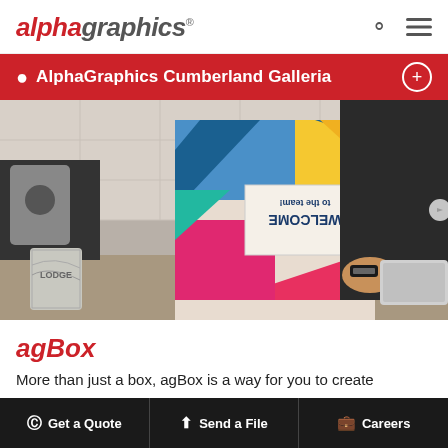alphagraphics®
AlphaGraphics Cumberland Galleria
[Figure (photo): Person holding a colorful printed box that reads WELCOME to the team! in reversed text, with vibrant multicolor graphic design print. A marble mug labeled LODGE is visible on the counter.]
agBox
More than just a box, agBox is a way for you to create
Get a Quote   Send a File   Careers